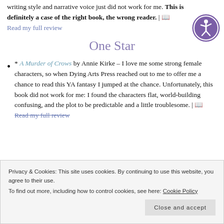writing style and narrative voice just did not work for me. This is definitely a case of the right book, the wrong reader. | 📖 Read my full review
One Star
* A Murder of Crows by Annie Kirke – I love me some strong female characters, so when Dying Arts Press reached out to me to offer me a chance to read this YA fantasy I jumped at the chance. Unfortunately, this book did not work for me: I found the characters flat, world-building confusing, and the plot to be predictable and a little troublesome. | 📖 Read my full review
Privacy & Cookies: This site uses cookies. By continuing to use this website, you agree to their use. To find out more, including how to control cookies, see here: Cookie Policy